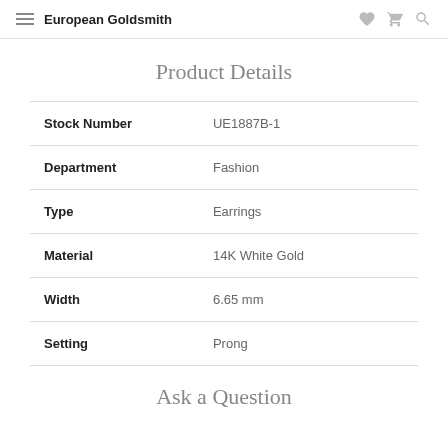European Goldsmith
Product Details
|  |  |
| --- | --- |
| Stock Number | UE1887B-1 |
| Department | Fashion |
| Type | Earrings |
| Material | 14K White Gold |
| Width | 6.65 mm |
| Setting | Prong |
Ask a Question